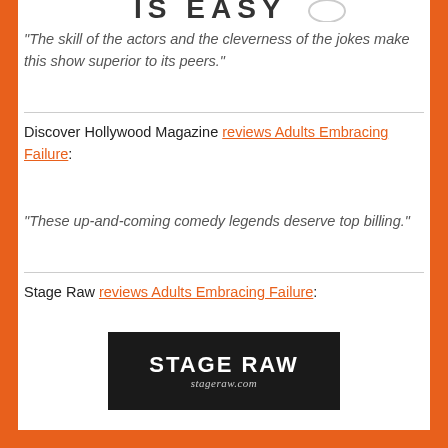[Figure (logo): Partial logo text visible at top: 'IS EASY' with circular graphic element]
“The skill of the actors and the cleverness of the jokes make this show superior to its peers.”
Discover Hollywood Magazine reviews Adults Embracing Failure:
“These up-and-coming comedy legends deserve top billing.”
Stage Raw reviews Adults Embracing Failure:
[Figure (logo): Stage Raw logo: dark background with 'STAGE RAW' in bold white uppercase letters and 'stageraw.com' in italic below]